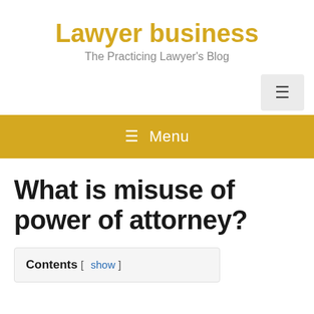Lawyer business
The Practicing Lawyer's Blog
[Figure (other): Hamburger menu navigation button in light grey box, top right corner]
≡ Menu
What is misuse of power of attorney?
Contents [ show ]